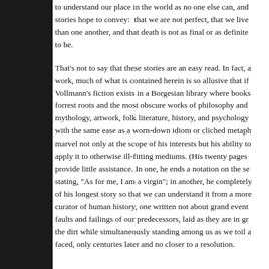to understand our place in the world as no one else can, and stories hope to convey: that we are not perfect, that we live than one another, and that death is not as final or as definite to be.
That's not to say that these stories are an easy read. In fact, a work, much of what is contained herein is so allusive that if Vollmann's fiction exists in a Borgesian library where books forrest roots and the most obscure works of philosophy and mythology, artwork, folk literature, history, and psychology with the same ease as a worn-down idiom or cliched metaph marvel not only at the scope of his interests but his ability to apply it to otherwise ill-fitting mediums. (His twenty pages provide little assistance. In one, he ends a notation on the se stating, "As for me, I am a virgin"; in another, he completely of his longest story so that we can understand it from a more curator of human history, one written not about grand event faults and failings of our predecessors, laid as they are in gr the dirt while simultaneously standing among us as we toil a faced, only centuries later and no closer to a resolution.